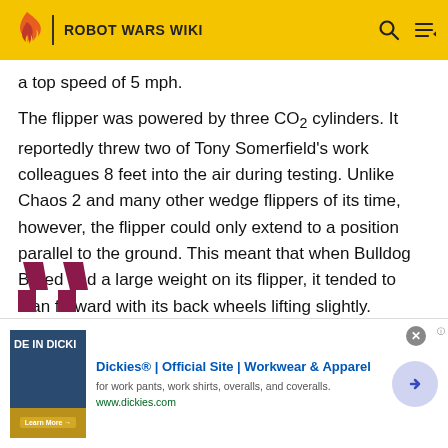ROBOT WARS WIKI
a top speed of 5 mph.
The flipper was powered by three CO₂ cylinders. It reportedly threw two of Tony Somerfield's work colleagues 8 feet into the air during testing. Unlike Chaos 2 and many other wedge flippers of its time, however, the flipper could only extend to a position parallel to the ground. This meant that when Bulldog Breed had a large weight on its flipper, it tended to lean forward with its back wheels lifting slightly.
[Figure (other): Dickies advertisement banner showing 'DE IN DICKI' text with Dickies Official Site workwear product]